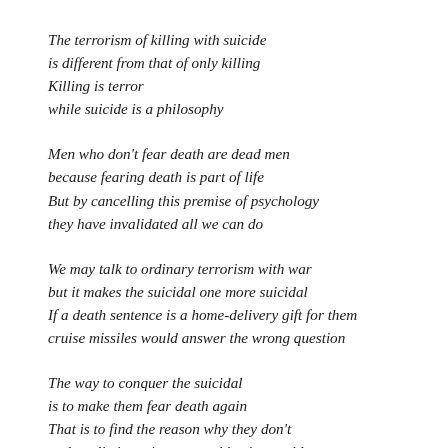The terrorism of killing with suicide
is different from that of only killing
Killing is terror
while suicide is a philosophy
Men who don't fear death are dead men
because fearing death is part of life
But by cancelling this premise of psychology
they have invalidated all we can do
We may talk to ordinary terrorism with war
but it makes the suicidal one more suicidal
If a death sentence is a home-delivery gift for them
cruise missiles would answer the wrong question
The way to conquer the suicidal
is to make them fear death again
That is to find the reason why they don't
and to eliminate it as a psychiatrist would